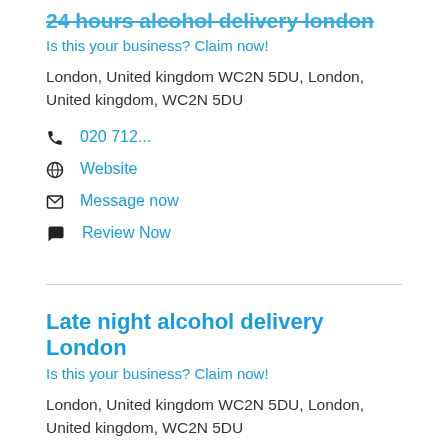24 hours alcohol delivery london
Is this your business? Claim now!
London, United kingdom WC2N 5DU, London, United kingdom, WC2N 5DU
020 712...
Website
Message now
Review Now
Late night alcohol delivery London
Is this your business? Claim now!
London, United kingdom WC2N 5DU, London, United kingdom, WC2N 5DU
020 712...
Website
Message now